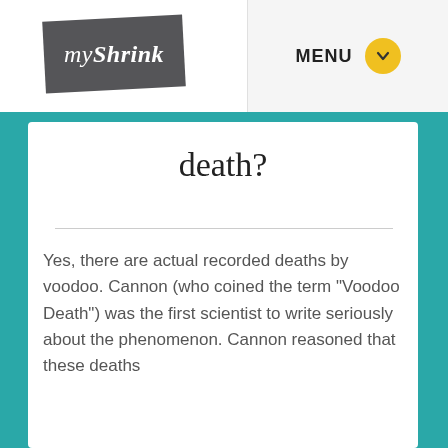[Figure (logo): myShrink logo — dark grey tilted rectangle with italic white text 'my Shrink']
MENU
death?
Yes, there are actual recorded deaths by voodoo. Cannon (who coined the term "Voodoo Death") was the first scientist to write seriously about the phenomenon. Cannon reasoned that these deaths